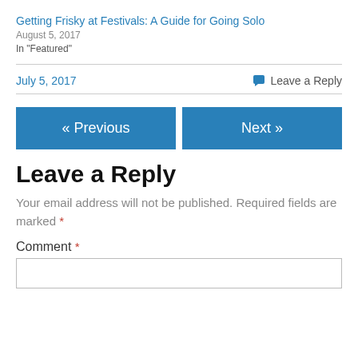Getting Frisky at Festivals: A Guide for Going Solo
August 5, 2017
In "Featured"
July 5, 2017
Leave a Reply
« Previous
Next »
Leave a Reply
Your email address will not be published. Required fields are marked *
Comment *